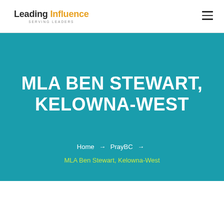Leading Influence SERVING LEADERS
MLA BEN STEWART, KELOWNA-WEST
Home → PrayBC → MLA Ben Stewart, Kelowna-West